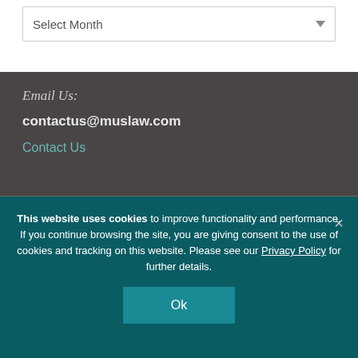Select Month
Email Us:
contactus@muslaw.com
Contact Us
This website uses cookies to improve functionality and performance. If you continue browsing the site, you are giving consent to the use of cookies and tracking on this website. Please see our Privacy Policy for further details.
Ok